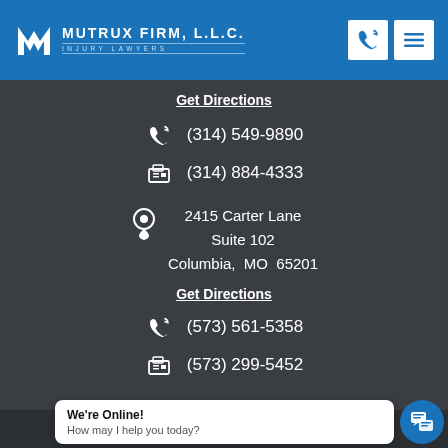MUTRUX FIRM, L.L.C. INJURY LAWYERS
Get Directions
(314) 549-9890
(314) 884-4333
2415 Carter Lane
Suite 102
Columbia, MO 65201
Get Directions
(573) 561-5358
(573) 299-5452
© Mutrux Firm Inc. All rights reserved. Privacy Policy
We're Online!
How may I help you today?